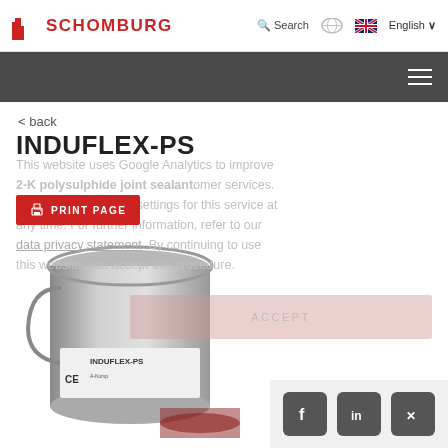SCHOMBURG — Search | English
< back
INDUFLEX-PS
2-K polysulphide joint sealant
PRINT PAGE
This website uses Google Analytics to improve our services. You can change your settings for this service at any time. For further information, refer to our data privacy statement. By continuing to use this website, you accept this procedure.
ACCEPT
[Figure (photo): Metal bucket/can of INDUFLEX-PS 2-K polysulphide joint sealant product, showing CE marking label on the front]
[Figure (infographic): Social media icons for Facebook, LinkedIn, and Xing in dark grey rounded square buttons]